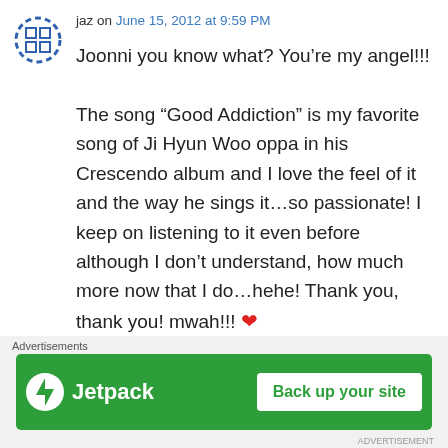jaz on June 15, 2012 at 9:59 PM
Joonni you know what? You’re my angel!!!

The song “Good Addiction” is my favorite song of Ji Hyun Woo oppa in his Crescendo album and I love the feel of it and the way he sings it…so passionate! I keep on listening to it even before although I don’t understand, how much more now that I do…hehe! Thank you, thank you! mwah!!! ❤
↳ Reply
[Figure (other): Partial next comment avatar visible at bottom]
[Figure (other): Close/X button circle icon]
Advertisements
[Figure (other): Jetpack advertisement banner: Back up your site]